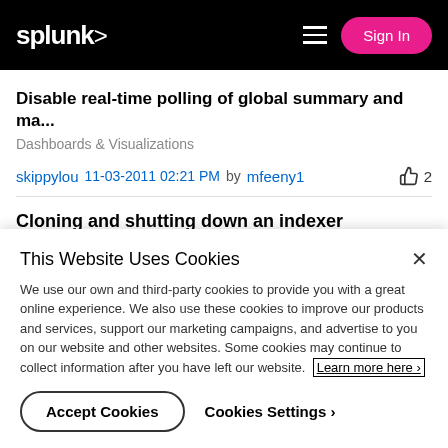splunk>  Sign In
Disable real-time polling of global summary and ma...
Dashboards & Visualizations
skippylou  11-03-2011 02:21 PM  by mfeeny1  👍 2
Cloning and shutting down an indexer
This Website Uses Cookies

We use our own and third-party cookies to provide you with a great online experience. We also use these cookies to improve our products and services, support our marketing campaigns, and advertise to you on our website and other websites. Some cookies may continue to collect information after you have left our website. Learn more here ›

Accept Cookies    Cookies Settings ›